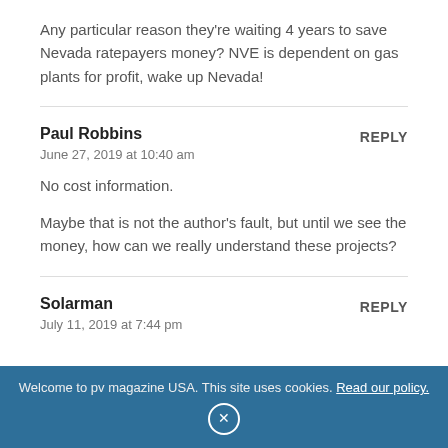Any particular reason they're waiting 4 years to save Nevada ratepayers money? NVE is dependent on gas plants for profit, wake up Nevada!
Paul Robbins
June 27, 2019 at 10:40 am
No cost information.
Maybe that is not the author's fault, but until we see the money, how can we really understand these projects?
Solarman
July 11, 2019 at 7:44 pm
Welcome to pv magazine USA. This site uses cookies. Read our policy.